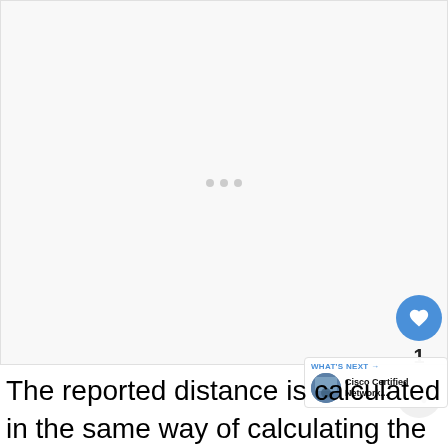[Figure (other): Blank/loading image area with three small grey dots indicating content loading]
The reported distance is calculated in the same way of calculating the metric. By default (K1 = 1, K2 = 0, K3 = 1, K4 = 0, K5 = 0), the metric is